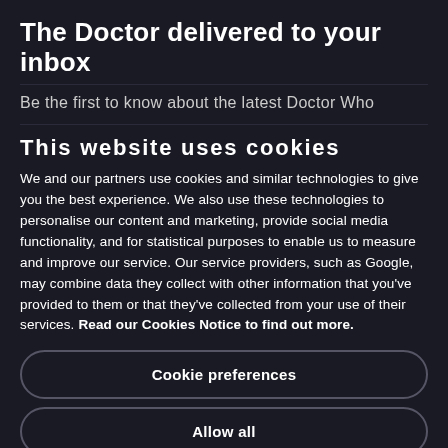The Doctor delivered to your inbox
Be the first to know about the latest Doctor Who
This website uses cookies
We and our partners use cookies and similar technologies to give you the best experience. We also use these technologies to personalise our content and marketing, provide social media functionality, and for statistical purposes to enable us to measure and improve our service. Our service providers, such as Google, may combine data they collect with other information that you've provided to them or that they've collected from your use of their services. Read our Cookies Notice to find out more.
Cookie preferences
Allow all